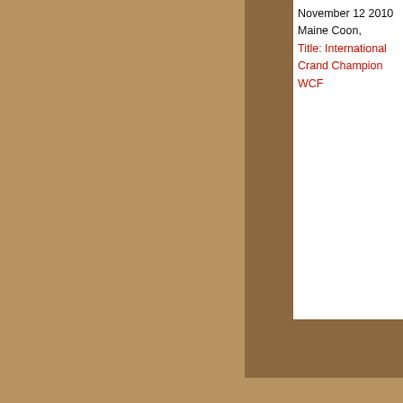November 12 2010
Maine Coon,
Title: International Grand Champion WCF
[Figure (logo): Red square icon with white paw print]
Alwaro Maxi St
Maine Coon, bl
torbie
Enter search t
Maine Coon cattery Dr
(c)
E-mai
© Copyrigh